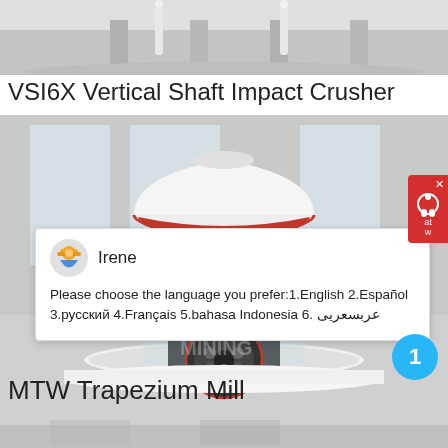[Figure (photo): Top portion of a VSI6X Vertical Shaft Impact Crusher machine, showing metallic structure on light background]
VSI6X Vertical Shaft Impact Crusher
[Figure (photo): MTW Trapezium Mill machine in industrial setting with white conical body and red stripe, with a live chat popup overlay showing agent Irene asking user to choose a language]
MTW Trapezium Mill
[Figure (photo): Bottom strip of another machine image, light gray industrial equipment]